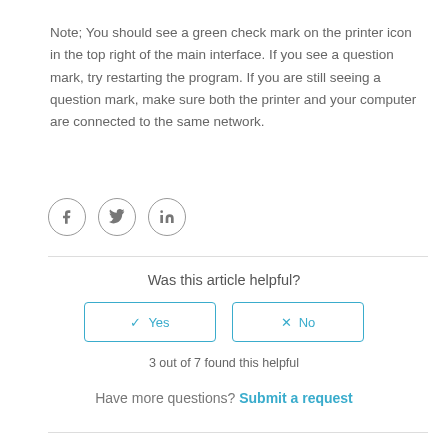Note; You should see a green check mark on the printer icon in the top right of the main interface. If you see a question mark, try restarting the program. If you are still seeing a question mark, make sure both the printer and your computer are connected to the same network.
[Figure (other): Social media share icons: Facebook (f), Twitter (bird), LinkedIn (in) — three circular outlined icons in a row]
Was this article helpful?
✓ Yes   ✗ No (two button UI elements)
3 out of 7 found this helpful
Have more questions? Submit a request